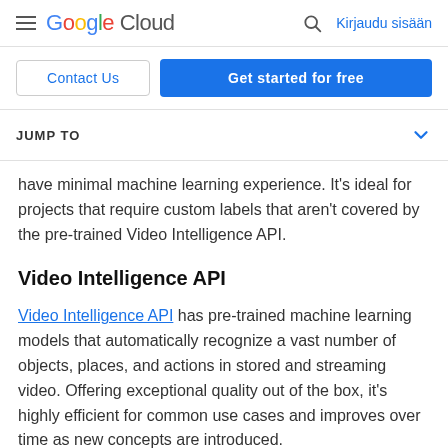Google Cloud  Kirjaudu sisään
[Figure (screenshot): Google Cloud navigation bar with hamburger menu, Google Cloud logo, search icon, and Kirjaudu sisään (Sign in) link]
Contact Us  Get started for free
JUMP TO
have minimal machine learning experience. It's ideal for projects that require custom labels that aren't covered by the pre-trained Video Intelligence API.
Video Intelligence API
Video Intelligence API has pre-trained machine learning models that automatically recognize a vast number of objects, places, and actions in stored and streaming video. Offering exceptional quality out of the box, it's highly efficient for common use cases and improves over time as new concepts are introduced.